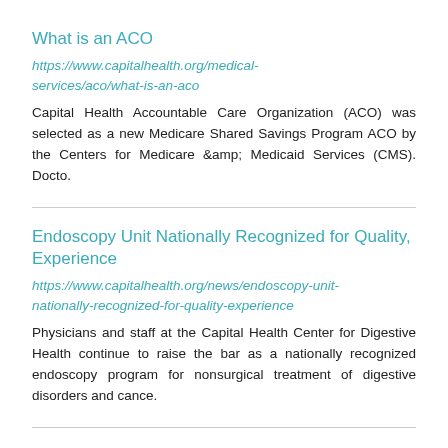What is an ACO
https://www.capitalhealth.org/medical-services/aco/what-is-an-aco
Capital Health Accountable Care Organization (ACO) was selected as a new Medicare Shared Savings Program ACO by the Centers for Medicare &amp; Medicaid Services (CMS). Docto.
Endoscopy Unit Nationally Recognized for Quality, Experience
https://www.capitalhealth.org/news/endoscopy-unit-nationally-recognized-for-quality-experience
Physicians and staff at the Capital Health Center for Digestive Health continue to raise the bar as a nationally recognized endoscopy program for nonsurgical treatment of digestive disorders and cance.